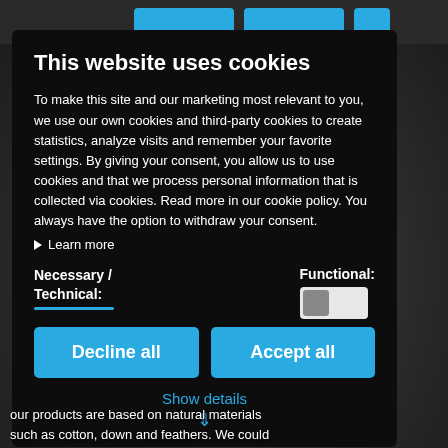[Figure (screenshot): Background showing a dark website header with blue navigation buttons partially visible at the top, and a dark textured/rainy background below]
This website uses cookies
To make this site and our marketing most relevant to you, we use our own cookies and third-party cookies to create statistics, analyze visits and remember your favorite settings. By giving your consent, you allow us to use cookies and that we process personal information that is collected via cookies. Read more in our cookie policy. You always have the option to withdraw your consent.
▶ Learn more
Necessary / Technical:
Functional:
Decline all
Accept all
Show details
our products are based on natural materials such as cotton, down and feathers. We could